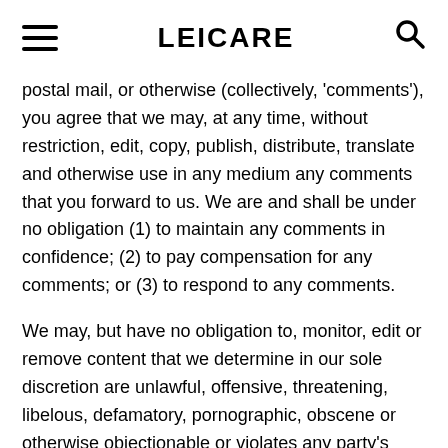LEICARE
postal mail, or otherwise (collectively, 'comments'), you agree that we may, at any time, without restriction, edit, copy, publish, distribute, translate and otherwise use in any medium any comments that you forward to us. We are and shall be under no obligation (1) to maintain any comments in confidence; (2) to pay compensation for any comments; or (3) to respond to any comments.
We may, but have no obligation to, monitor, edit or remove content that we determine in our sole discretion are unlawful, offensive, threatening, libelous, defamatory, pornographic, obscene or otherwise objectionable or violates any party's intellectual property or these Terms of Service.